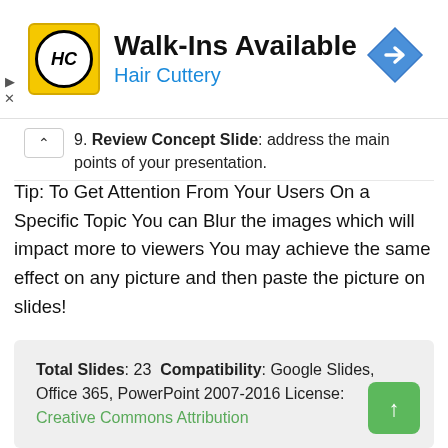[Figure (logo): Hair Cuttery advertisement banner with HC logo in yellow circle, title 'Walk-Ins Available', subtitle 'Hair Cuttery', and a blue diamond navigation arrow icon]
9. Review Concept Slide: address the main points of your presentation.
Tip: To Get Attention From Your Users On a Specific Topic You can Blur the images which will impact more to viewers You may achieve the same effect on any picture and then paste the picture on slides!
Total Slides: 23 Compatibility: Google Slides, Office 365, PowerPoint 2007-2016 License: Creative Commons Attribution